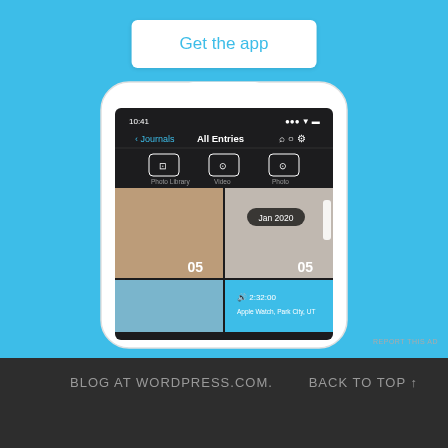[Figure (screenshot): Blue background section with a white rounded rectangle 'Get the app' button at the top, and a smartphone screenshot below showing a journal app called 'All Entries' with photo library, video, and photo icons, and two photo entries dated Jan 2020 with day 05, plus an audio entry at 2:32:00 from Apple Watch, Park City, UT]
REPORT THIS AD
BLOG AT WORDPRESS.COM.
BACK TO TOP ↑